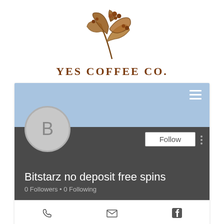[Figure (logo): Yes Coffee Co. logo with illustrated coffee plant branch bearing leaves and berries in brown tones above the brand name]
YES COFFEE CO.
[Figure (screenshot): Mobile app profile screen showing a user profile for 'Bitstarz no deposit free spins' with a light blue header, hamburger menu, avatar circle with letter B, Follow button, 0 Followers and 0 Following stats, and footer icons for phone, email, and Facebook]